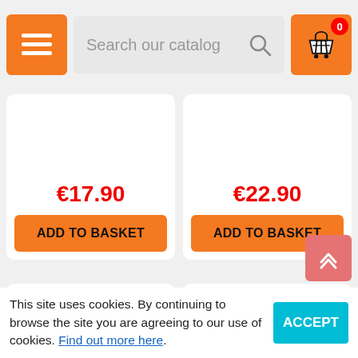[Figure (screenshot): E-commerce mobile website header with orange menu button, search bar reading 'Search our catalog', and orange basket icon with red badge showing 0]
€17.90
ADD TO BASKET
€22.90
ADD TO BASKET
[Figure (photo): Product image area (white/empty) for Element RC Enduro aluminum product]
Element RC Enduro aluminum
In Stock
[Figure (photo): Product image area (white/empty) for Element RC Enduro aluminum product]
Element RC Enduro aluminum
In Stock
This site uses cookies. By continuing to browse the site you are agreeing to our use of cookies. Find out more here.
ACCEPT